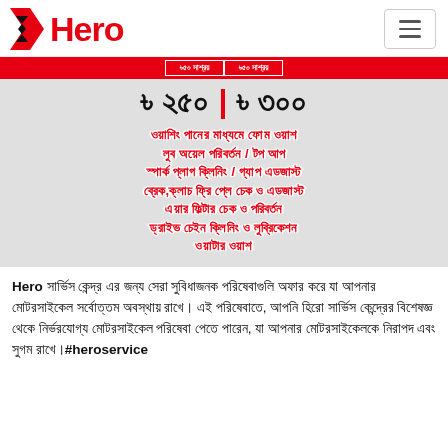Hero
[Figure (infographic): Hero service promotional banner showing motorcycle service prices ৳ ২৫০ and ৳ ৩০০ with a list of services in Bengali: washing with foam wash, lube oil change/top up, spark plug cleaning/gap adjust, brake/clutch/free play check & adjust, air filter check & change, drive chain cleaning & lubrication, water wash]
Hero সার্ভিস কেন্দ্র এর জন্য সেরা সুবিধাজনক পরিষেবাগুলি অফার করে যা আপনার মোটরসাইকেল সর্বোত্তম অবস্থায় রাখে। এই পরিষেবাতে, আপনি হিরো সার্ভিস কেন্দ্রের বিশেষজ্ঞ থেকে নির্ভরযোগ্য মোটরসাইকেল পরিষেবা পেতে পারেন, যা আপনার মোটরসাইকেলকে নিরাপদ এবং সুগম রাখে।#heroservice